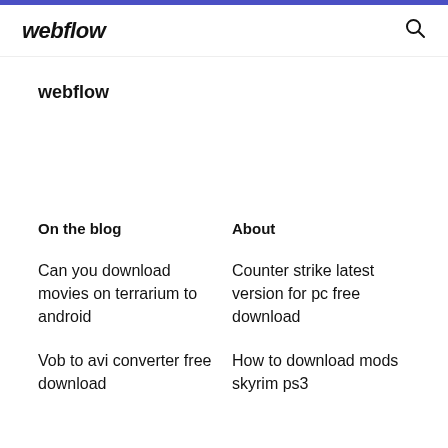webflow
webflow
On the blog
About
Can you download movies on terrarium to android
Counter strike latest version for pc free download
Vob to avi converter free download
How to download mods skyrim ps3